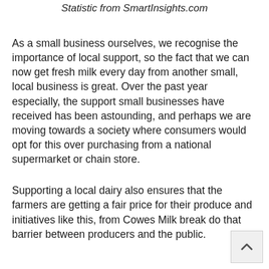Statistic from SmartInsights.com
As a small business ourselves, we recognise the importance of local support, so the fact that we can now get fresh milk every day from another small, local business is great. Over the past year especially, the support small businesses have received has been astounding, and perhaps we are moving towards a society where consumers would opt for this over purchasing from a national supermarket or chain store.
Supporting a local dairy also ensures that the farmers are getting a fair price for their produce and initiatives like this, from Cowes Milk break do that barrier between producers and the public.